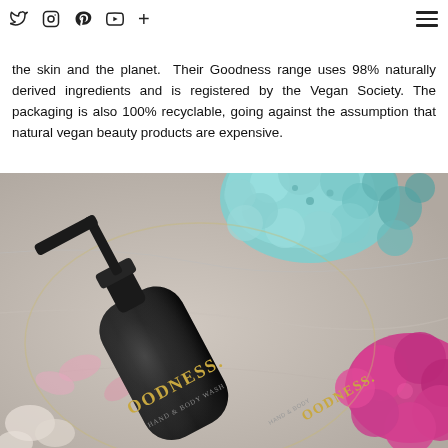Social media icons: Twitter, Instagram, Pinterest, YouTube, Plus | Hamburger menu
showcasing their sustainably luxurious collection that's both kind to the skin and the planet. Their Goodness range uses 98% naturally derived ingredients and is registered by the Vegan Society. The packaging is also 100% recyclable, going against the assumption that natural vegan beauty products are expensive.
[Figure (photo): A dark green/black pump bottle labeled GOODNESS photographed on a decorative tray surrounded by teal hydrangea flowers and pink tropical flowers]